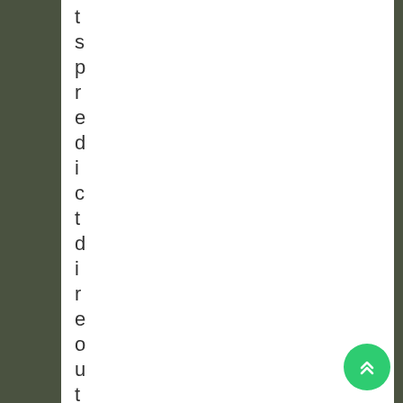ts predicts direct outcomes
[Figure (other): Green circular FAB button with double upward chevron arrows]